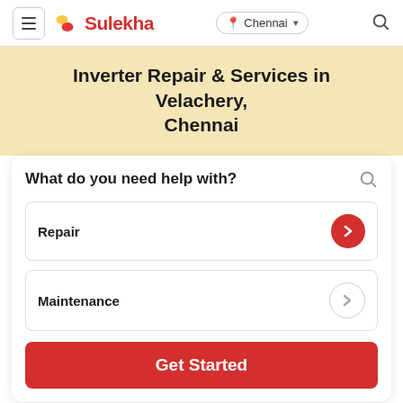Sulekha | Chennai
Inverter Repair & Services in Velachery, Chennai
What do you need help with?
Repair
Maintenance
Get Started
How Sulekha works?
1  2  3